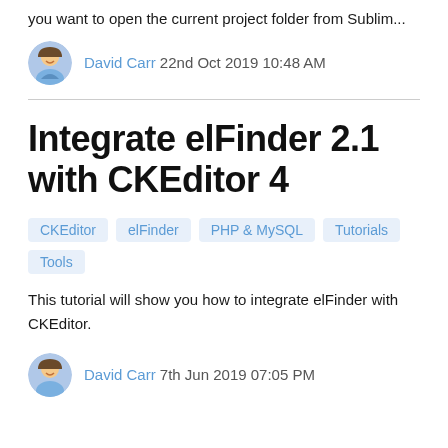you want to open the current project folder from Sublim...
David Carr 22nd Oct 2019 10:48 AM
Integrate elFinder 2.1 with CKEditor 4
CKEditor
elFinder
PHP & MySQL
Tutorials
Tools
This tutorial will show you how to integrate elFinder with CKEditor.
David Carr 7th Jun 2019 07:05 PM